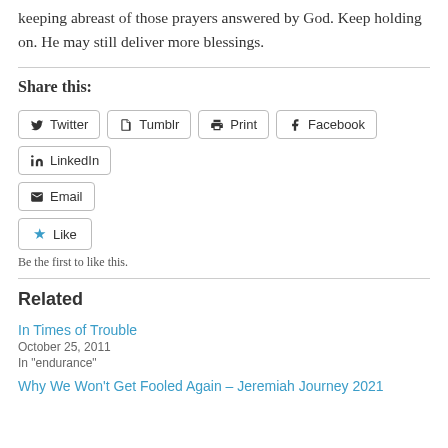keeping abreast of those prayers answered by God. Keep holding on. He may still deliver more blessings.
Share this:
Twitter Tumblr Print Facebook LinkedIn Email
Like
Be the first to like this.
Related
In Times of Trouble
October 25, 2011
In "endurance"
Why We Won't Get Fooled Again – Jeremiah Journey 2021